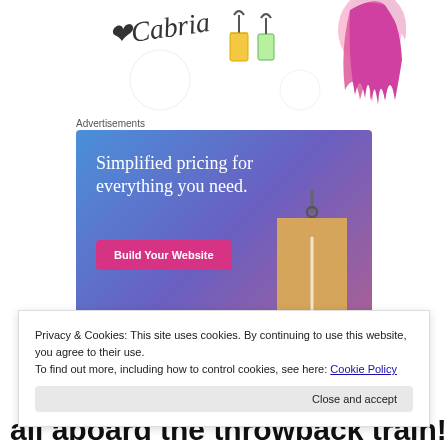[Figure (illustration): Top banner with decorative illustrations including cursive text 'Cabria', clothing hangers, suitcases, and pink flowing hair graphic]
Advertisements
[Figure (screenshot): Advertisement banner with blue-purple gradient background. Text: 'Simplified pricing for everything you need.' Pink button labeled 'Build Your Website'. A tan/beige price tag illustration on the right.]
Privacy & Cookies: This site uses cookies. By continuing to use this website, you agree to their use.
To find out more, including how to control cookies, see here: Cookie Policy
Close and accept
all aboard the throwback train!